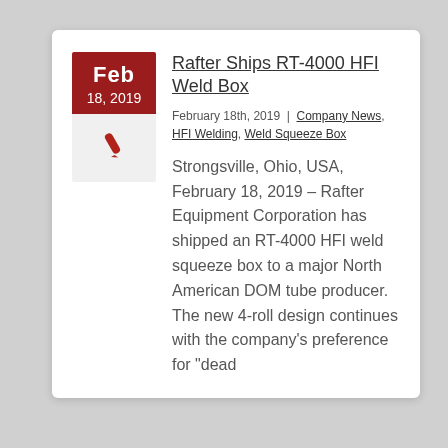Rafter Ships RT-4000 HFI Weld Box
February 18th, 2019 | Company News, HFI Welding, Weld Squeeze Box
Strongsville, Ohio, USA, February 18, 2019 – Rafter Equipment Corporation has shipped an RT-4000 HFI weld squeeze box to a major North American DOM tube producer. The new 4-roll design continues with the company's preference for "dead